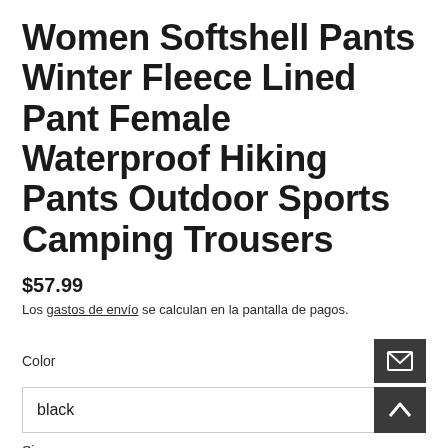Women Softshell Pants Winter Fleece Lined Pant Female Waterproof Hiking Pants Outdoor Sports Camping Trousers
$57.99
Los gastos de envío se calculan en la pantalla de pagos.
Color
black
Size
Large